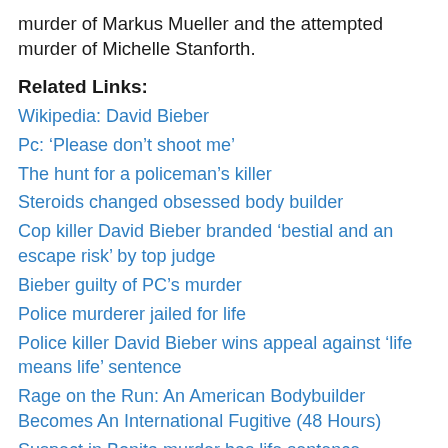murder of Markus Mueller and the attempted murder of Michelle Stanforth.
Related Links:
Wikipedia: David Bieber
Pc: ‘Please don’t shoot me’
The hunt for a policeman’s killer
Steroids changed obsessed body builder
Cop killer David Bieber branded ‘bestial and an escape risk’ by top judge
Bieber guilty of PC’s murder
Police murderer jailed for life
Police killer David Bieber wins appeal against ‘life means life’ sentence
Rage on the Run: An American Bodybuilder Becomes An International Fugitive (48 Hours)
Suspect in Bonita murder has life sentence reduced in